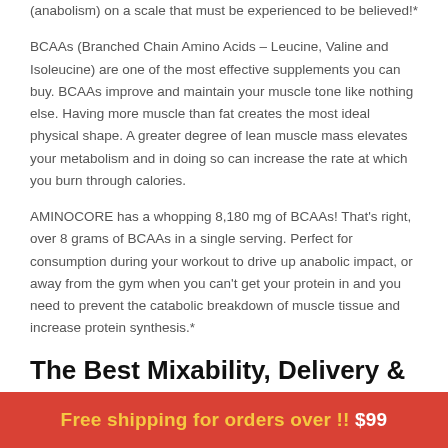(anabolism) on a scale that must be experienced to be believed!*
BCAAs (Branched Chain Amino Acids – Leucine, Valine and Isoleucine) are one of the most effective supplements you can buy. BCAAs improve and maintain your muscle tone like nothing else. Having more muscle than fat creates the most ideal physical shape. A greater degree of lean muscle mass elevates your metabolism and in doing so can increase the rate at which you burn through calories.
AMINOCORE has a whopping 8,180 mg of BCAAs! That's right, over 8 grams of BCAAs in a single serving. Perfect for consumption during your workout to drive up anabolic impact, or away from the gym when you can't get your protein in and you need to prevent the catabolic breakdown of muscle tissue and increase protein synthesis.*
The Best Mixability, Delivery & Absorption
AMINOCORE has INSTACLEAR, a cutting-edge solubility technology to
Free shipping for orders over !! $99